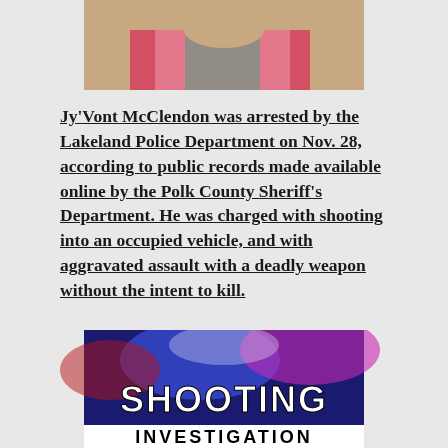[Figure (photo): Close-up photo of a person wearing a pink/red striped jacket, appearing to be a mugshot or arrest photo]
Jy'Vont McClendon was arrested by the Lakeland Police Department on Nov. 28, according to public records made available online by the Polk County Sheriff's Department. He was charged with shooting into an occupied vehicle, and with aggravated assault with a deadly weapon without the intent to kill.
[Figure (photo): News graphic with blurred police lights background showing 'SHOOTING INVESTIGATION' text overlay]